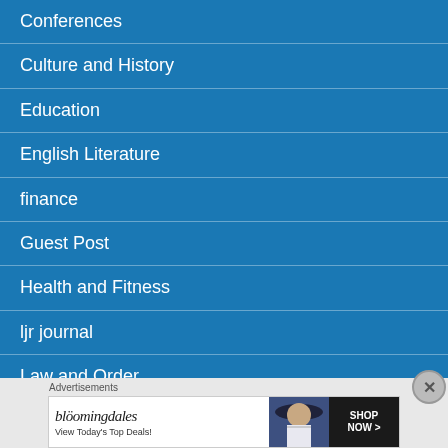Conferences
Culture and History
Education
English Literature
finance
Guest Post
Health and Fitness
ljr journal
Law and Order
Management Studies
Advertisements
[Figure (screenshot): Bloomingdale's advertisement banner: 'View Today's Top Deals!' with SHOP NOW button and model wearing hat]